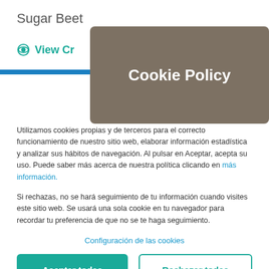Sugar Beet
View Cr...
Cookie Policy
Utilizamos cookies propias y de terceros para el correcto funcionamiento de nuestro sitio web, elaborar información estadística y analizar sus hábitos de navegación. Al pulsar en Aceptar, acepta su uso. Puede saber más acerca de nuestra política clicando en más información.
Si rechazas, no se hará seguimiento de tu información cuando visites este sitio web. Se usará una sola cookie en tu navegador para recordar tu preferencia de que no se te haga seguimiento.
Configuración de las cookies
Aceptar todas
Rechazar todas